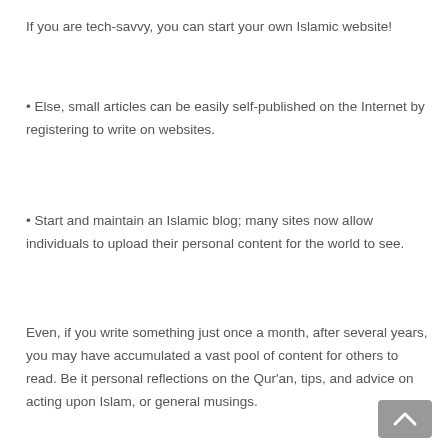If you are tech-savvy, you can start your own Islamic website!
• Else, small articles can be easily self-published on the Internet by registering to write on websites.
• Start and maintain an Islamic blog; many sites now allow individuals to upload their personal content for the world to see.
Even, if you write something just once a month, after several years, you may have accumulated a vast pool of content for others to read. Be it personal reflections on the Qur'an, tips, and advice on acting upon Islam, or general musings.